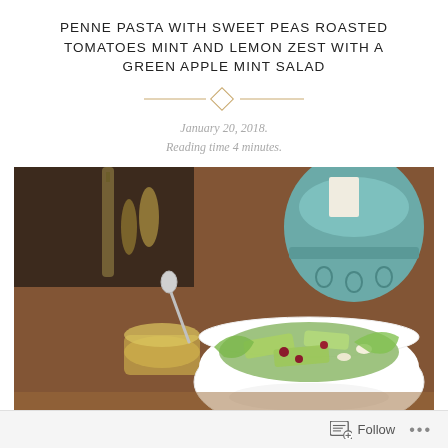PENNE PASTA WITH SWEET PEAS ROASTED TOMATOES MINT AND LEMON ZEST WITH A GREEN APPLE MINT SALAD
January 20, 2018.
Reading time 4 minutes.
[Figure (photo): A white bowl containing a green apple mint salad with visible cranberries and other ingredients, placed on a wooden surface next to a small glass jar with a spoon and a teal decorative lantern in the background.]
Follow ...